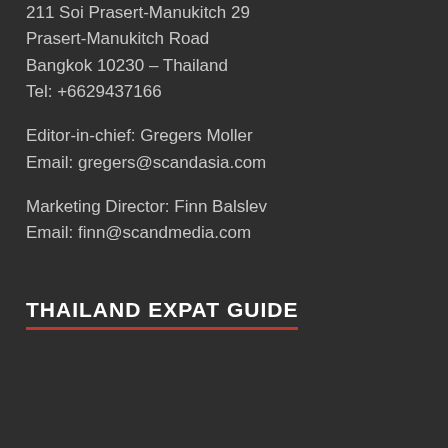211 Soi Prasert-Manukitch 29 Prasert-Manukitch Road Bangkok 10230 – Thailand Tel: +6629437166
Editor-in-chief: Gregers Moller
Email: gregers@scandasia.com
Marketing Director: Finn Balslev
Email: finn@scandmedia.com
THAILAND EXPAT GUIDE